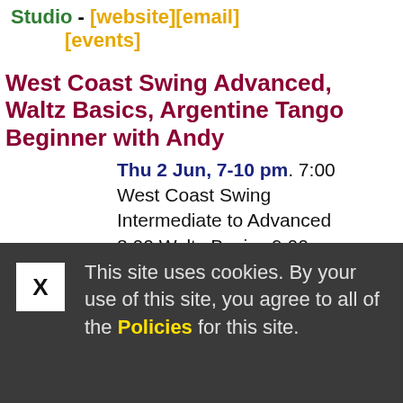Studio - [website][email][events]
West Coast Swing Advanced, Waltz Basics, Argentine Tango Beginner with Andy
Thu 2 Jun, 7-10 pm. 7:00 West Coast Swing Intermediate to Advanced 8:00 Waltz Basics 9:00
This site uses cookies. By your use of this site, you agree to all of the Policies for this site.